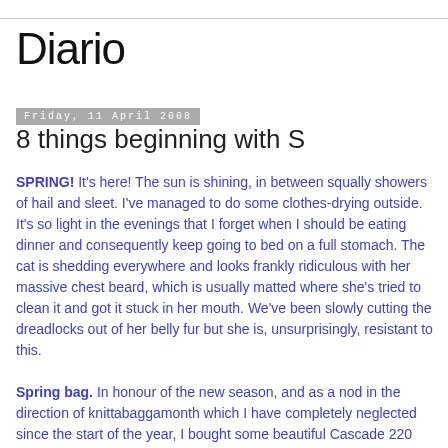Diario
Friday, 11 April 2008
8 things beginning with S
SPRING! It's here! The sun is shining, in between squally showers of hail and sleet. I've managed to do some clothes-drying outside. It's so light in the evenings that I forget when I should be eating dinner and consequently keep going to bed on a full stomach. The cat is shedding everywhere and looks frankly ridiculous with her massive chest beard, which is usually matted where she's tried to clean it and got it stuck in her mouth. We've been slowly cutting the dreadlocks out of her belly fur but she is, unsurprisingly, resistant to this.
Spring bag. In honour of the new season, and as a nod in the direction of knittabaggamonth which I have completely neglected since the start of the year, I bought some beautiful Cascade 220